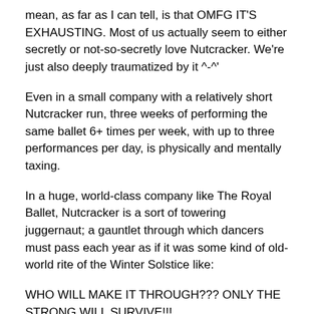mean, as far as I can tell, is that OMFG IT'S EXHAUSTING. Most of us actually seem to either secretly or not-so-secretly love Nutcracker. We're just also deeply traumatized by it ^-^'
Even in a small company with a relatively short Nutcracker run, three weeks of performing the same ballet 6+ times per week, with up to three performances per day, is physically and mentally taxing.
In a huge, world-class company like The Royal Ballet, Nutcracker is a sort of towering juggernaut; a gauntlet through which dancers must pass each year as if it was some kind of old-world rite of the Winter Solstice like:
WHO WILL MAKE IT THROUGH??? ONLY THE STRONG WILL SURVIVE!!!